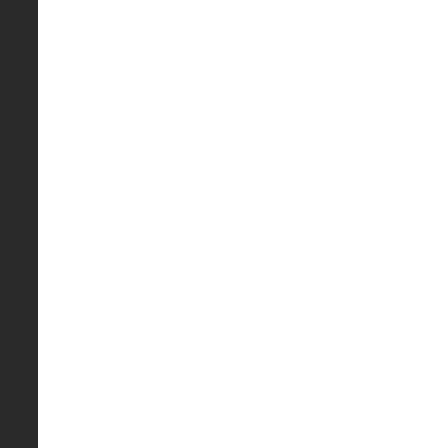Source code listing, lines 880-910, showing C code for file hash/ownership logic